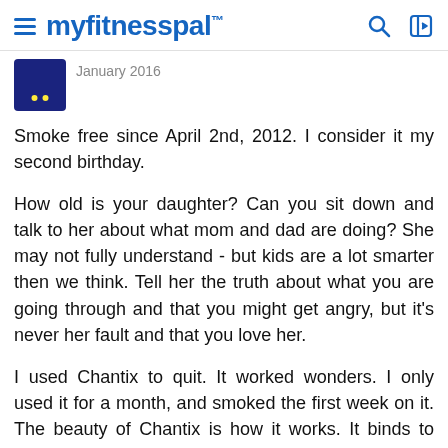myfitnesspal
January 2016
Smoke free since April 2nd, 2012. I consider it my second birthday.
How old is your daughter? Can you sit down and talk to her about what mom and dad are doing? She may not fully understand - but kids are a lot smarter then we think. Tell her the truth about what you are going through and that you might get angry, but it's never her fault and that you love her.
I used Chantix to quit. It worked wonders. I only used it for a month, and smoked the first week on it. The beauty of Chantix is how it works. It binds to nicotine receptors in the brain. So even if you